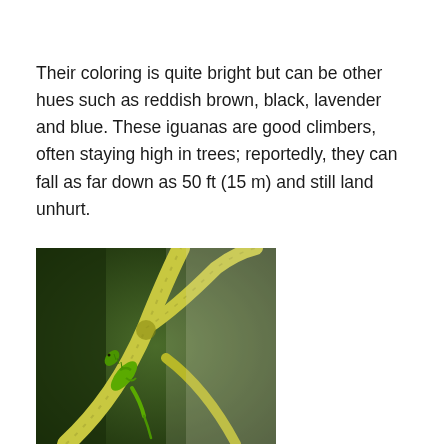Their coloring is quite bright but can be other hues such as reddish brown, black, lavender and blue. These iguanas are good climbers, often staying high in trees; reportedly, they can fall as far down as 50 ft (15 m) and still land unhurt.
[Figure (photo): A small green iguana clinging to a forked tree branch, photographed against a blurred dark green background.]